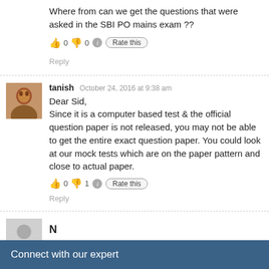Where from can we get the questions that were asked in the SBI PO mains exam ??
👍 0 👎 0 ℹ Rate this
Reply
tanish October 24, 2016 at 9:38 am
Dear Sid,
Since it is a computer based test & the official question paper is not released, you may not be able to get the entire exact question paper. You could look at our mock tests which are on the paper pattern and close to actual paper.
👍 0 👎 1 ℹ Rate this
Reply
N
Connect with our expert